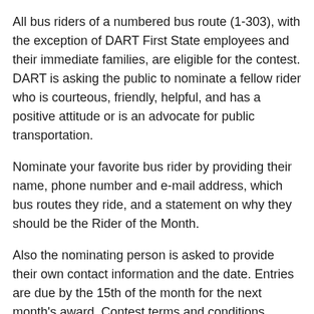All bus riders of a numbered bus route (1-303), with the exception of DART First State employees and their immediate families, are eligible for the contest. DART is asking the public to nominate a fellow rider who is courteous, friendly, helpful, and has a positive attitude or is an advocate for public transportation.
Nominate your favorite bus rider by providing their name, phone number and e-mail address, which bus routes they ride, and a statement on why they should be the Rider of the Month.
Also the nominating person is asked to provide their own contact information and the date. Entries are due by the 15th of the month for the next month's award. Contest terms and conditions, along with the rider nomination form are available at DartFirstState.com and in contest flyers at DART offices and transit stores, and by calling 1-800-652-DART, and pressing